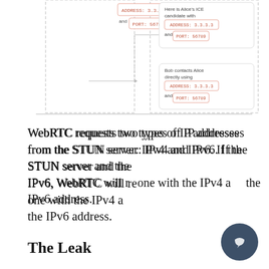[Figure (flowchart): Network diagram showing ICE candidate exchange between Alice and Bob. Shows address 3.3.3.3 and PORT: 56789 boxes, with annotations: 'Here is Alice's ICE candidate with ADDRESS: 3.3.3.3 and PORT: 56789' and 'Bob contacts Alice directly using ADDRESS: 3.3.3.3 and PORT: 56789'.]
WebRTC requests two types of IP addresses from the STUN server: IPv4 and IPv6. If the STUN server and the IPv6, WebRTC will r one with the IPv4 a the IPv6 address.
The Leak